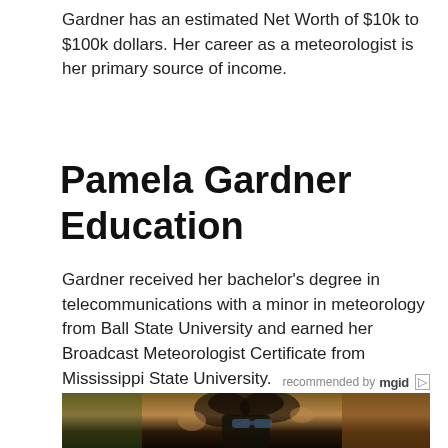Gardner has an estimated Net Worth of $10k to $100k dollars. Her career as a meteorologist is her primary source of income.
Pamela Gardner Education
Gardner received her bachelor’s degree in telecommunications with a minor in meteorology from Ball State University and earned her Broadcast Meteorologist Certificate from Mississippi State University.
recommended by mgid
[Figure (photo): Photo of a woman with large curly hair wearing sunglasses, raising her hands, standing in front of a wooden door with greenery in background.]